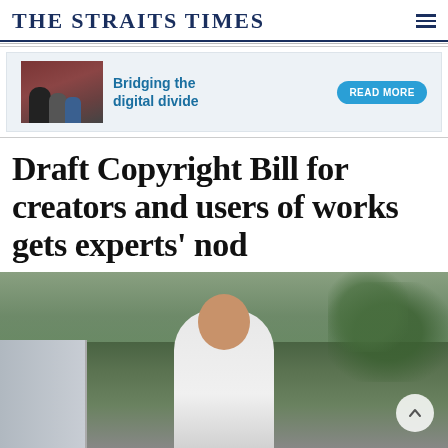THE STRAITS TIMES
[Figure (infographic): Advertisement banner: Bridging the digital divide with READ MORE button, showing elderly people being helped with technology]
Draft Copyright Bill for creators and users of works gets experts' nod
[Figure (photo): Photograph of a smiling Asian man in a white shirt standing outdoors with green trees and buildings in background]